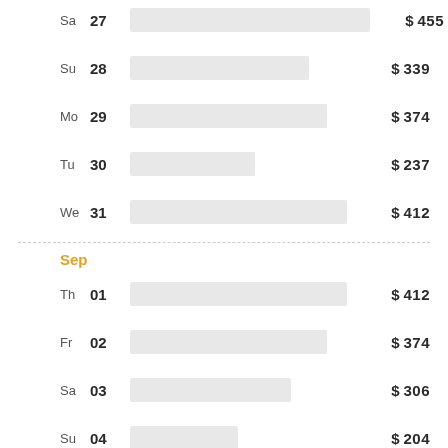[Figure (bar-chart): Daily prices Aug-Sep]